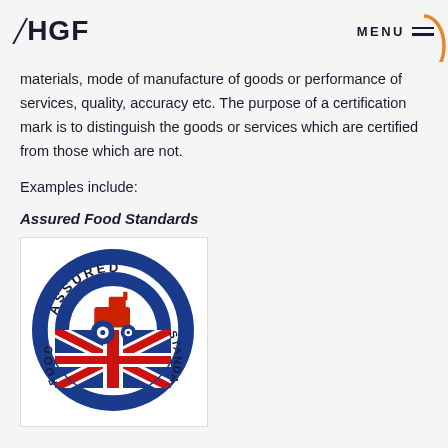/HGF MENU
materials, mode of manufacture of goods or performance of services, quality, accuracy etc. The purpose of a certification mark is to distinguish the goods or services which are certified from those which are not.
Examples include:
Assured Food Standards
[Figure (logo): Assured Food Standards circular logo featuring a red tractor on a blue circle background, with 'ASSURED FOOD STANDARDS' text around the ring and a Union Jack flag at the bottom.]